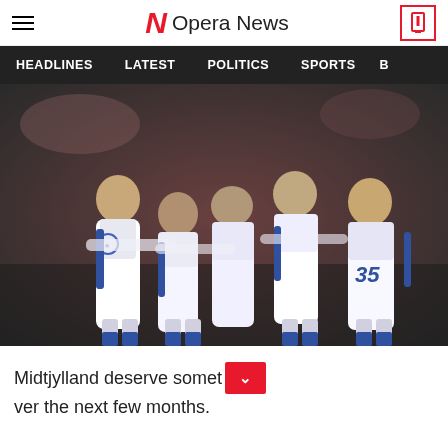Opera News
HEADLINES   LATEST   POLITICS   SPORTS   B
[Figure (photo): Football players in white jerseys with blue accents celebrating together on a field, UEFA Champions League badge visible]
Midtjylland deserve somet[button]ver the next few months.